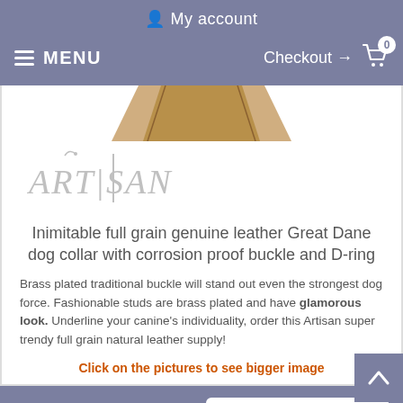My account
MENU   Checkout → 0
[Figure (photo): Partial view of a tan/brown leather dog collar product against a white background with Artisan brand logo watermark]
Inimitable full grain genuine leather Great Dane dog collar with corrosion proof buckle and D-ring
Brass plated traditional buckle will stand out even the strongest dog force. Fashionable studs are brass plated and have glamorous look. Underline your canine's individuality, order this Artisan super trendy full grain natural leather supply!
Click on the pictures to see bigger image
$63.70   SELECT OPTIONS